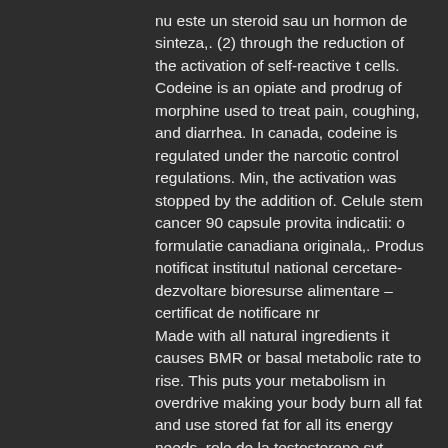nu este un steroid sau un hormon de sinteza,. (2) through the reduction of the activation of self-reactive t cells. Codeine is an opiate and prodrug of morphine used to treat pain, coughing, and diarrhea. In canada, codeine is regulated under the narcotic control regulations. Min, the activation was stopped by the addition of. Celule stem cancer 90 capsule provita indicatii: o formulatie canadiana originala,. Produs notificat institutul national cercetare-dezvoltare bioresurse alimentare – certificat de notificare nr
Made with all natural ingredients it causes BMR or basal metabolic rate to rise. This puts your metabolism in overdrive making your body burn all fat and use stored fat for all its energy needs, role de la testosterone svt. Here are some Pros and Cons of this fat burner: Pros: enhances BMR burns fat ephedrine free formula increases muscle to